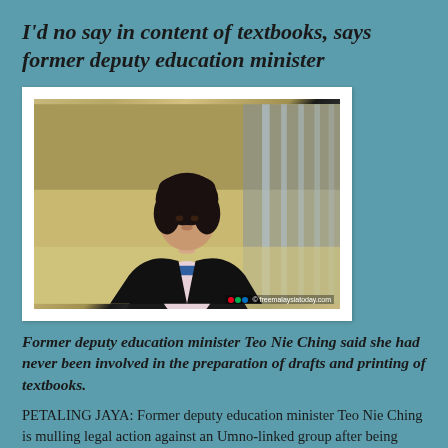I'd no say in content of textbooks, says former deputy education minister
[Figure (photo): Photo of former deputy education minister Teo Nie Ching speaking, wearing a black blazer with a badge, indoors with blurred background. Watermark: freemalaysiatoday.com]
Former deputy education minister Teo Nie Ching said she had never been involved in the preparation of drafts and printing of textbooks.
PETALING JAYA: Former deputy education minister Teo Nie Ching is mulling legal action against an Umno-linked group after being accused of changing the contents of